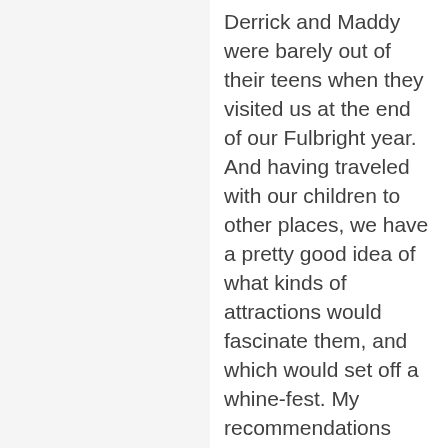Derrick and Maddy were barely out of their teens when they visited us at the end of our Fulbright year. And having traveled with our children to other places, we have a pretty good idea of what kinds of attractions would fascinate them, and which would set off a whine-fest. My recommendations come with a couple of caveats, though. The first is that I don't have much experience with very young children, since we never took ours on trips when they were under the age of six. The second is that I still don't